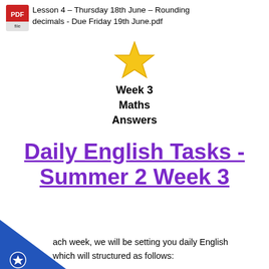Lesson 4 – Thursday 18th June – Rounding decimals - Due Friday 19th June.pdf
[Figure (illustration): Yellow star emoji icon]
Week 3
Maths
Answers
Daily English Tasks - Summer 2 Week 3
Each week, we will be setting you daily English which will structured as follows: